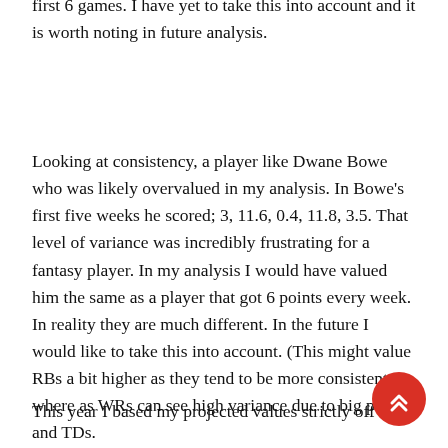first 6 games. I have yet to take this into account and it is worth noting in future analysis.
Looking at consistency, a player like Dwane Bowe who was likely overvalued in my analysis. In Bowe's first five weeks he scored; 3, 11.6, 0.4, 11.8, 3.5. That level of variance was incredibly frustrating for a fantasy player. In my analysis I would have valued him the same as a player that got 6 points every week. In reality they are much different. In the future I would like to take this into account. (This might value RBs a bit higher as they tend to be more consistent where as WRs can see high variance due to big plays and TDs.
This year I based my projected values strictly off of